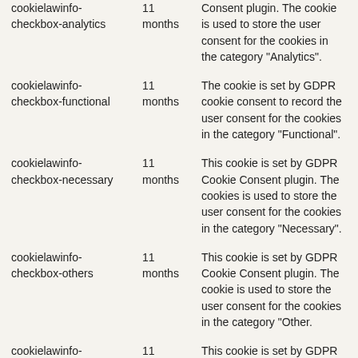| Cookie | Duration | Description |
| --- | --- | --- |
| cookielawinfo-checkbox-analytics | 11 months | Consent plugin. The cookie is used to store the user consent for the cookies in the category "Analytics". |
| cookielawinfo-checkbox-functional | 11 months | The cookie is set by GDPR cookie consent to record the user consent for the cookies in the category "Functional". |
| cookielawinfo-checkbox-necessary | 11 months | This cookie is set by GDPR Cookie Consent plugin. The cookies is used to store the user consent for the cookies in the category "Necessary". |
| cookielawinfo-checkbox-others | 11 months | This cookie is set by GDPR Cookie Consent plugin. The cookie is used to store the user consent for the cookies in the category "Other. |
| cookielawinfo-checkbox-performance | 11 months | This cookie is set by GDPR Cookie Consent plugin. The cookie is used to store the user consent for the cookies in the category "Performance". |
|  |  | The cookie is set by the GDPR |